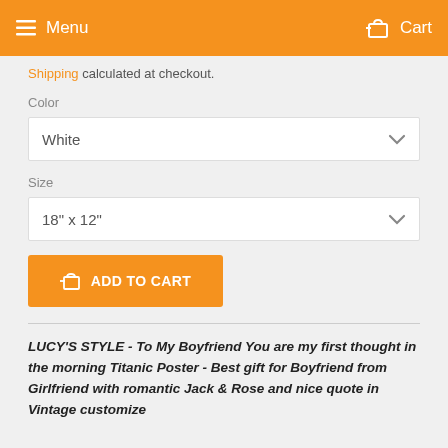Menu  Cart
Shipping calculated at checkout.
Color
White
Size
18" x 12"
ADD TO CART
LUCY'S STYLE - To My Boyfriend You are my first thought in the morning Titanic Poster - Best gift for Boyfriend from Girlfriend with romantic Jack & Rose and nice quote in Vintage customize